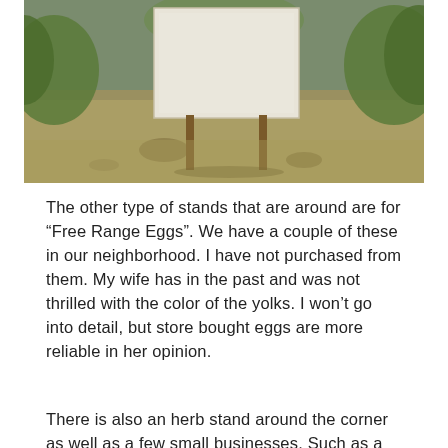[Figure (photo): Outdoor photo showing a white rectangular sign or board mounted on wooden legs, sitting on dry grass with green bushes/shrubs in the background. The sign appears blank or faded.]
The other type of stands that are around are for “Free Range Eggs”. We have a couple of these in our neighborhood. I have not purchased from them. My wife has in the past and was not thrilled with the color of the yolks. I won’t go into detail, but store bought eggs are more reliable in her opinion.
There is also an herb stand around the corner as well as a few small businesses. Such as a